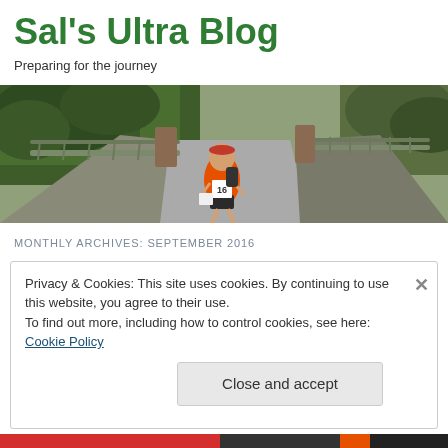Sal's Ultra Blog
Preparing for the journey
[Figure (photo): A runner wearing an orange shirt with race number 16 and a red headband, carrying a backpack, running on a road path with green hedges and trees on the left and a stone bridge/railing on both sides.]
MONTHLY ARCHIVES: SEPTEMBER 2016
Privacy & Cookies: This site uses cookies. By continuing to use this website, you agree to their use.
To find out more, including how to control cookies, see here: Cookie Policy
Close and accept